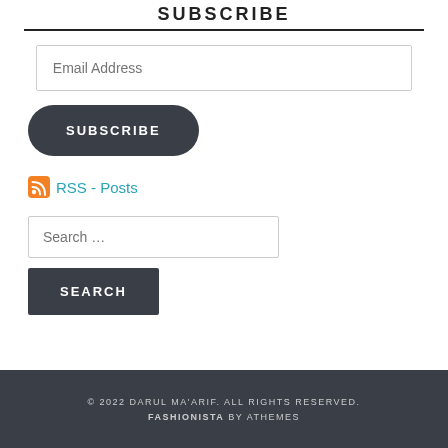SUBSCRIBE
Email Address
SUBSCRIBE
RSS - Posts
Search …
SEARCH
© 2022 DARUL MA'ARIF. ALL RIGHTS RESERVED. FASHIONISTA BY ATHEMES